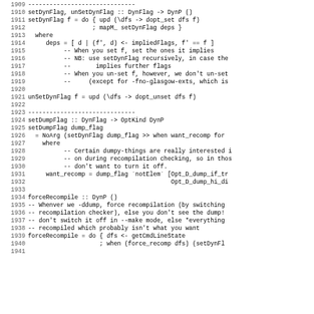[Figure (screenshot): Source code listing in Haskell, lines 1909–1941, showing setDynFlag, unSetDynFlag, setDumpFlag, and forceRecompile function definitions with line numbers on the left.]